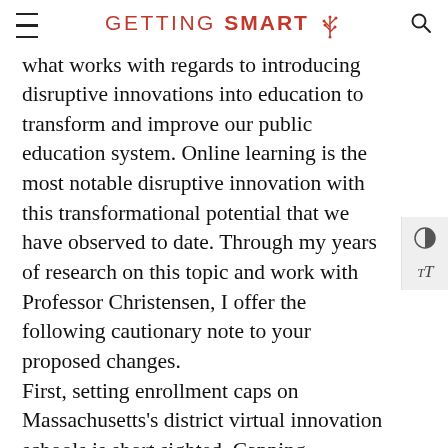GETTING SMART
what works with regards to introducing disruptive innovations into education to transform and improve our public education system. Online learning is the most notable disruptive innovation with this transformational potential that we have observed to date. Through my years of research on this topic and work with Professor Christensen, I offer the following cautionary note to your proposed changes. First, setting enrollment caps on Massachusetts's district virtual innovation schools is short sighted. Capping enrollments at 500 students per school relegates virtual schooling in Massachusetts to a small asterisk in